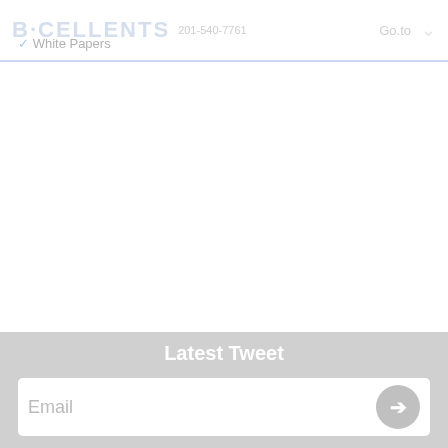B·CELLENTS  White Papers  Go.to
Latest Tweet
Want to increase productivity with #Excel. Register for our Excel class at @BKLYN_IC at https://t.co/20B2U38Akn. 12:13AM - 21 Aug 2021
Newsletter
Email